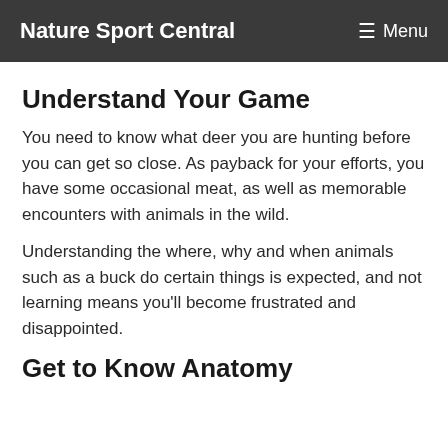Nature Sport Central   ☰ Menu
Understand Your Game
You need to know what deer you are hunting before you can get so close. As payback for your efforts, you have some occasional meat, as well as memorable encounters with animals in the wild.
Understanding the where, why and when animals such as a buck do certain things is expected, and not learning means you'll become frustrated and disappointed.
Get to Know Anatomy